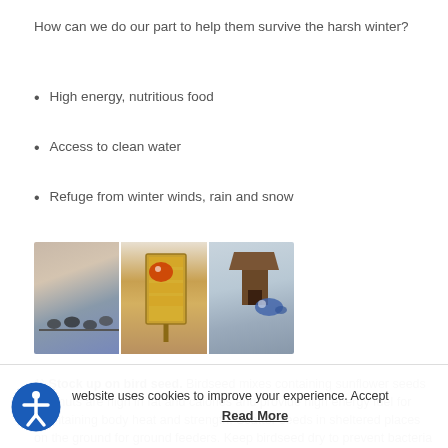How can we do our part to help them survive the harsh winter?
High energy, nutritious food
Access to clean water
Refuge from winter winds, rain and snow
[Figure (photo): Three photos side by side showing birds in winter: birds perched on a snowy branch, a woodpecker at a suet feeder, and a blue jay at a bird feeder in snow]
1) Stock up on bird seed. Birdseed mixes containing sunflower seeds and nuts are high in fat and calories and provide high energy fuel for maintaining body heat and strength. Scatter seeds in sheltered places on the ground for ground feeders. Keep birdseed dry to prevent bacteria and mold buildup.
2) Provide suet cakes. Suet is an important source of high
website uses cookies to improve your experience. Accept
Read More